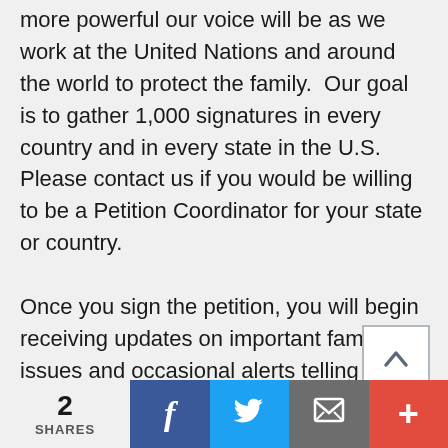more powerful our voice will be as we work at the United Nations and around the world to protect the family.  Our goal is to gather 1,000 signatures in every country and in every state in the U.S.  Please contact us if you would be willing to be a Petition Coordinator for your state or country.

Once you sign the petition, you will begin receiving updates on important family issues and occasional alerts telling you how
[Figure (other): Scroll-to-top button with upward arrow icon]
2 SHARES | Facebook share | Twitter share | Email share | More share